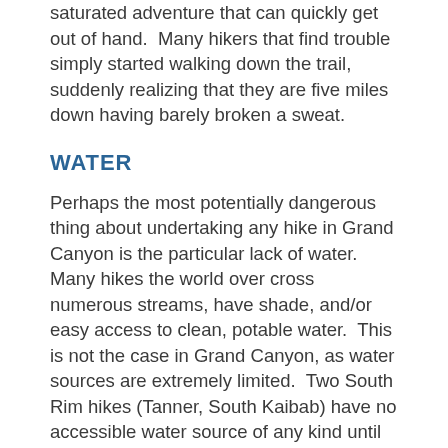saturated adventure that can quickly get out of hand.  Many hikers that find trouble simply started walking down the trail, suddenly realizing that they are five miles down having barely broken a sweat.
WATER
Perhaps the most potentially dangerous thing about undertaking any hike in Grand Canyon is the particular lack of water.  Many hikes the world over cross numerous streams, have shade, and/or easy access to clean, potable water.  This is not the case in Grand Canyon, as water sources are extremely limited.  Two South Rim hikes (Tanner, South Kaibab) have no accessible water source of any kind until the Colorado River.